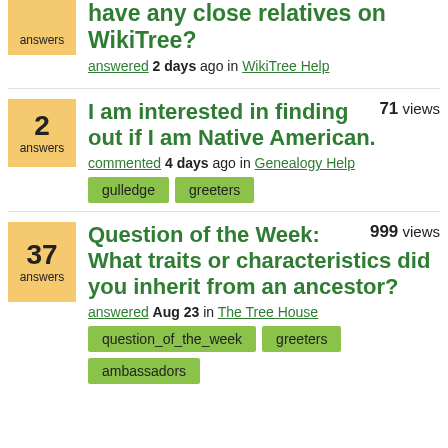answers (badge top, cut off) — have any close relatives on WikiTree? answered 2 days ago in WikiTree Help
2 answers — 71 views — I am interested in finding out if I am Native American. commented 4 days ago in Genealogy Help — tags: gulledge, greeters
37 answers — 999 views — Question of the Week: What traits or characteristics did you inherit from an ancestor? answered Aug 23 in The Tree House — tags: question_of_the_week, greeters, ambassadors